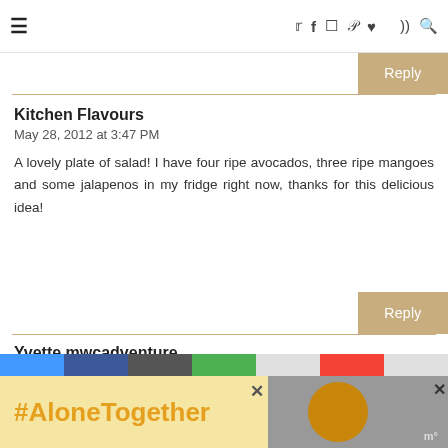≡  ✓ f ◻ p ♥ ))) 🔍
to say! Yum and then the app will automatically
Reply
Kitchen Flavours
May 28, 2012 at 3:47 PM

A lovely plate of salad! I have four ripe avocados, three ripe mangoes and some jalapenos in my fridge right now, thanks for this delicious idea!
Reply
Yvette mwcadventure
May 28, 2012 at 3:47 PM

Yum, wats not to like about this salad.
I think i'm going to follow youre advice
#AloneTogether